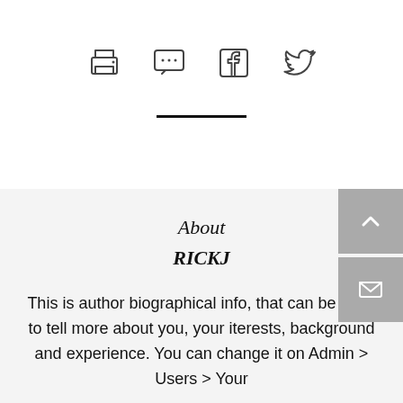[Figure (illustration): Row of four social/action icons: printer, chat/comment, Facebook, Twitter]
About
RICKJ
This is author biographical info, that can be used to tell more about you, your iterests, background and experience. You can change it on Admin > Users > Your